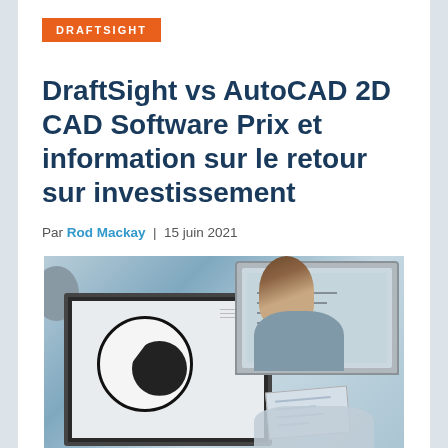DRAFTSIGHT
DraftSight vs AutoCAD 2D CAD Software Prix et information sur le retour sur investissement
Par Rod Mackay | 15 juin 2021
[Figure (photo): Person working at a desk with a monitor displaying a CAD drawing and a laptop, reviewing blueprints]